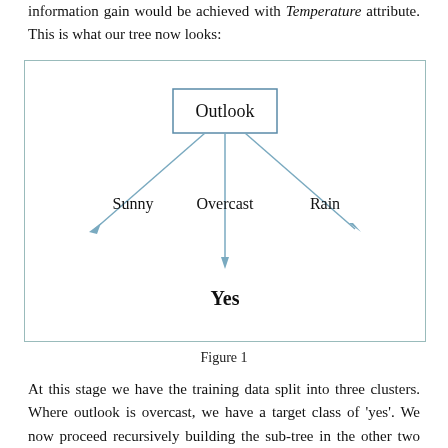information gain would be achieved with Temperature attribute. This is what our tree now looks:
[Figure (flowchart): A decision tree diagram with root node 'Outlook' branching into three paths: 'Sunny' (arrow pointing left), 'Overcast' (arrow pointing down to 'Yes' leaf node in bold), and 'Rain' (arrow pointing right).]
Figure 1
At this stage we have the training data split into three clusters. Where outlook is overcast, we have a target class of 'yes'. We now proceed recursively building the sub-tree in the other two clusters. Where outlook is sunny, we have a total of 5 records. These are reproduced in Table 2 below. Out of three possible